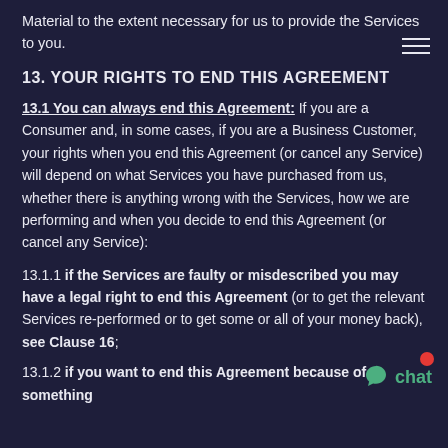Material to the extent necessary for us to provide the Services to you.
13. YOUR RIGHTS TO END THIS AGREEMENT
13.1 You can always end this Agreement: If you are a Consumer and, in some cases, if you are a Business Customer, your rights when you end this Agreement (or cancel any Service) will depend on what Services you have purchased from us, whether there is anything wrong with the Services, how we are performing and when you decide to end this Agreement (or cancel any Service):
13.1.1 if the Services are faulty or misdescribed you may have a legal right to end this Agreement (or to get the relevant Services re-performed or to get some or all of your money back), see Clause 16;
13.1.2 if you want to end this Agreement because of something we have done or told you we are going to do, see Clause...